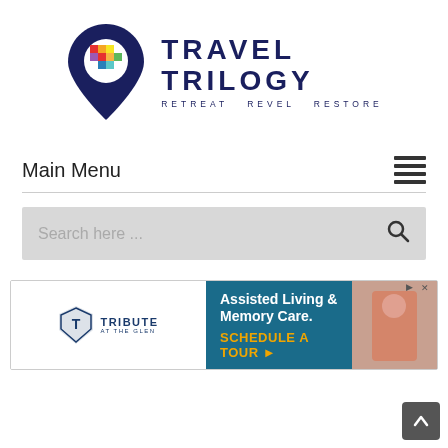[Figure (logo): Travel Trilogy logo with a dark navy map pin icon containing a colorful geometric pattern, beside bold text reading TRAVEL TRILOGY with tagline Retreat Revel Restore]
Main Menu
[Figure (other): Hamburger/menu icon with four horizontal lines]
[Figure (other): Search bar with placeholder text 'Search here ...' and a magnifying glass icon]
[Figure (other): Advertisement banner for Tribute at the Glen: Assisted Living & Memory Care. SCHEDULE A TOUR with a photo of an elderly person]
[Figure (other): Scroll-to-top button with upward arrow in dark gray rounded square]